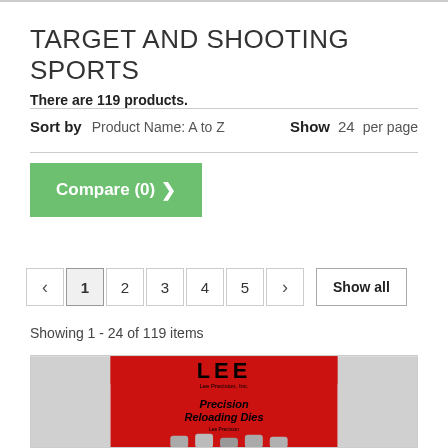TARGET AND SHOOTING SPORTS
There are 119 products.
Sort by  Product Name: A to Z  Show  24  per page
Compare (0) >
< 1 2 3 4 5 >  Show all
Showing 1 - 24 of 119 items
[Figure (photo): LEE Precision Reloading Dies product box — red packaging with black LEE logo and 'Precision Reloading Dies' text, with metal dies visible at the bottom]